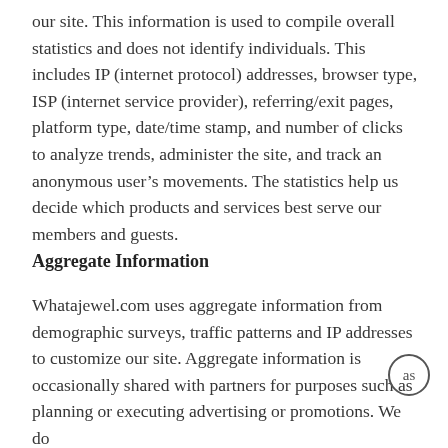our site. This information is used to compile overall statistics and does not identify individuals. This includes IP (internet protocol) addresses, browser type, ISP (internet service provider), referring/exit pages, platform type, date/time stamp, and number of clicks to analyze trends, administer the site, and track an anonymous user’s movements. The statistics help us decide which products and services best serve our members and guests.
Aggregate Information
Whatajewel.com uses aggregate information from demographic surveys, traffic patterns and IP addresses to customize our site. Aggregate information is occasionally shared with partners for purposes such as planning or executing advertising or promotions. We do